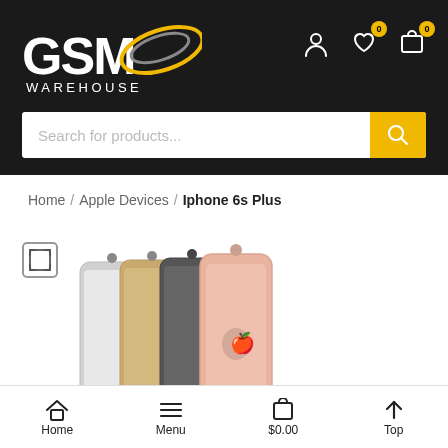GSM Warehouse - header with logo, user icon, wishlist (0), cart (0), and search bar
Home / Apple Devices / Iphone 6s Plus
[Figure (photo): Four iPhone 6s Plus phones shown from the back in silver, gold, space gray, and rose gold colors]
Home | Menu | $0.00 | Top